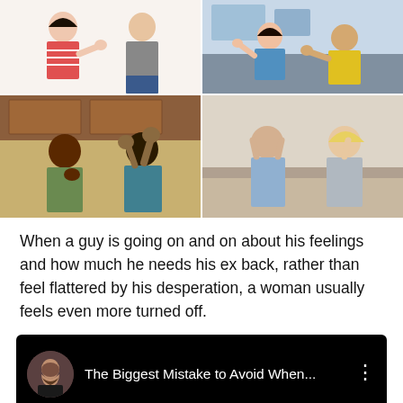[Figure (photo): 4-photo collage of couples in conflict: top-left woman pushing man away; top-right couple arguing on sofa; bottom-left man pleading woman with hand raised; bottom-right stressed couple sitting apart]
When a guy is going on and on about his feelings and how much he needs his ex back, rather than feel flattered by his desperation, a woman usually feels even more turned off.
[Figure (screenshot): YouTube video embed thumbnail with circular avatar of bearded man, title 'The Biggest Mistake to Avoid When...' and three-dot menu icon on black background]